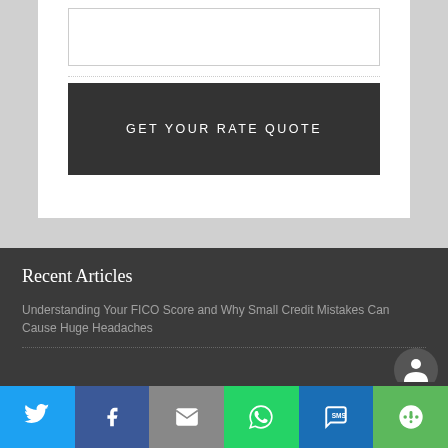[Figure (screenshot): White input box form field]
GET YOUR RATE QUOTE
Recent Articles
Understanding Your FICO Score and Why Small Credit Mistakes Can Cause Huge Headaches
[Figure (infographic): Social sharing bar with Twitter, Facebook, Email, WhatsApp, SMS, and More buttons]